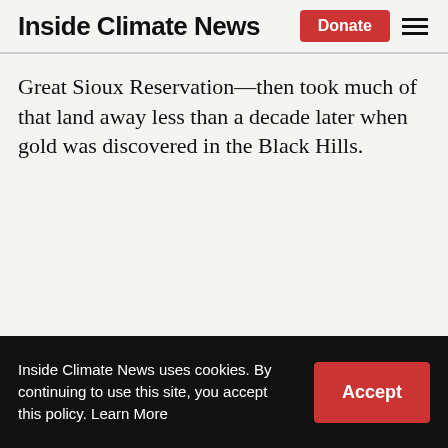Inside Climate News
Great Sioux Reservation—then took much of that land away less than a decade later when gold was discovered in the Black Hills.
Inside Climate News uses cookies. By continuing to use this site, you accept this policy. Learn More